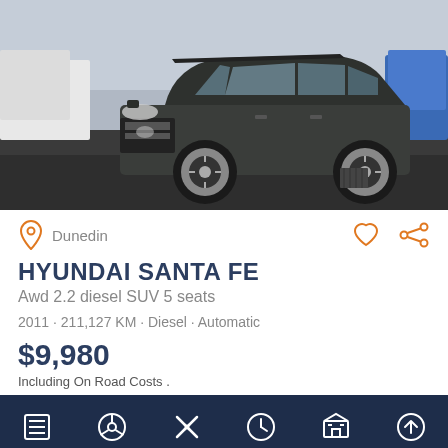[Figure (photo): Dark grey Hyundai Santa Fe SUV parked in a car dealership lot, front three-quarter view, with other vehicles visible in the background.]
Dunedin
HYUNDAI SANTA FE
Awd 2.2 diesel SUV 5 seats
2011 · 211,127 KM · Diesel · Automatic
$9,980
Including On Road Costs .